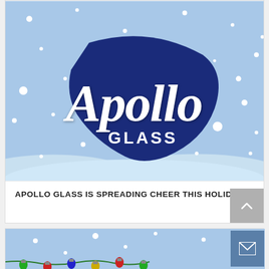[Figure (illustration): Apollo Glass logo on a winter holiday snow scene background. Light blue sky with falling white snowflakes, white snow drifts at the bottom. Center logo: dark navy blue shield/swoosh shape with italic white text 'Apollo' in large serif font and 'GLASS' in smaller white bold text below.]
APOLLO GLASS IS SPREADING CHEER THIS HOLIDA…
[Figure (illustration): Partial view of a second holiday card with light blue snowy background and colorful Christmas lights at the bottom edge.]